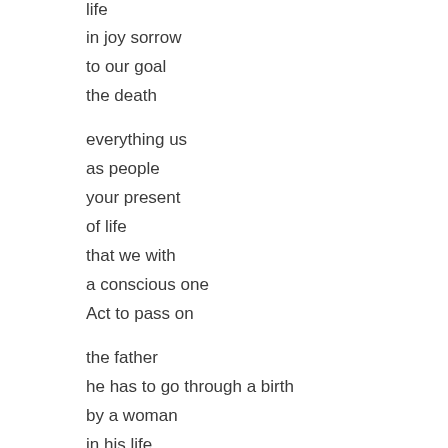life
in joy sorrow
to our goal
the death
everything us
as people
your present
of life
that we with
a conscious one
Act to pass on
the father
he has to go through a birth
by a woman
in his life